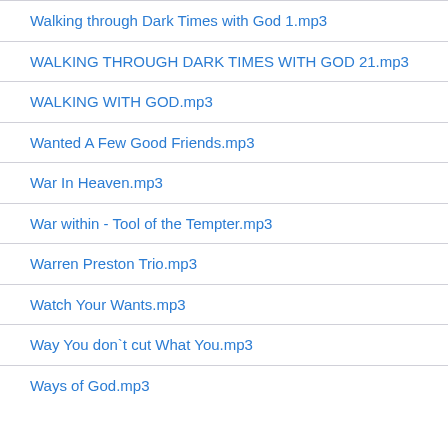Walking through Dark Times with God 1.mp3
WALKING THROUGH DARK TIMES WITH GOD 21.mp3
WALKING WITH GOD.mp3
Wanted A Few Good Friends.mp3
War In Heaven.mp3
War within - Tool of the Tempter.mp3
Warren Preston Trio.mp3
Watch Your Wants.mp3
Way You don`t cut What You.mp3
Ways of God.mp3